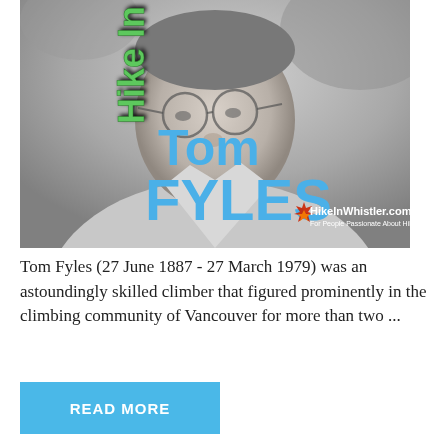[Figure (photo): Black and white photo of Tom Fyles, an older man wearing glasses, with overlaid text 'Tom FYLES' in blue and 'Hike In W...' vertically in green on the left side, and HikeInWhistler.com logo in bottom right.]
Tom Fyles (27 June 1887 - 27 March 1979) was an astoundingly skilled climber that figured prominently in the climbing community of Vancouver for more than two ...
READ MORE